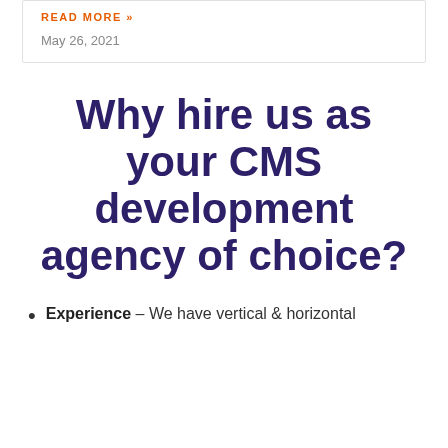READ MORE »
May 26, 2021
Why hire us as your CMS development agency of choice?
Experience – We have vertical & horizontal